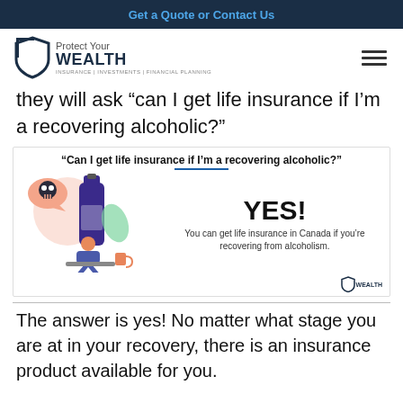Get a Quote or Contact Us
[Figure (logo): Protect Your WEALTH logo with shield icon and tagline: INSURANCE | INVESTMENTS | FINANCIAL PLANNING]
they will ask “can I get life insurance if I’m a recovering alcoholic?”
[Figure (infographic): Infographic with title 'Can I get life insurance if I’m a recovering alcoholic?' with illustration of person at desk with liquor bottle and skull, and text YES! You can get life insurance in Canada if you’re recovering from alcoholism.]
The answer is yes! No matter what stage you are at in your recovery, there is an insurance product available for you.